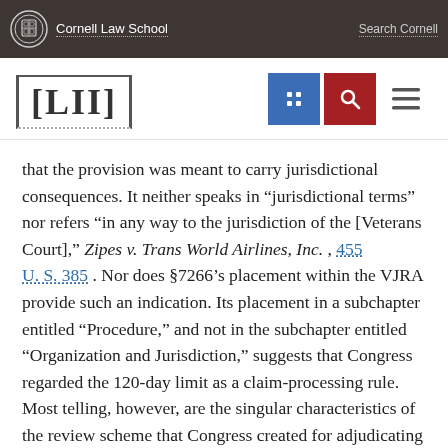Cornell Law School | LII — Legal Information Institute
that the provision was meant to carry jurisdictional consequences. It neither speaks in “jurisdictional terms” nor refers “in any way to the jurisdiction of the [Veterans Court],” Zipes v. Trans World Airlines, Inc. , 455 U. S. 385 . Nor does §7266’s placement within the VJRA provide such an indication. Its placement in a subchapter entitled “Procedure,” and not in the subchapter entitled “Organization and Jurisdiction,” suggests that Congress regarded the 120-day limit as a claim-processing rule. Most telling, however, are the singular characteristics of the review scheme that Congress created for adjudicating veterans’ benefits claims. Congress’ longstanding solicitude for veterans, United States v. Oregon , 366 U. S. 643 , is plainly